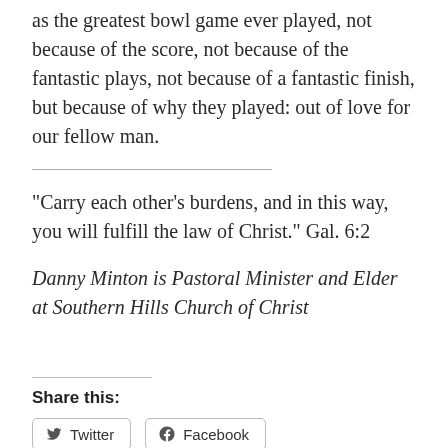as the greatest bowl game ever played, not because of the score, not because of the fantastic plays, not because of a fantastic finish, but because of why they played: out of love for our fellow man.
“Carry each other’s burdens, and in this way, you will fulfill the law of Christ.” Gal. 6:2
Danny Minton is Pastoral Minister and Elder at Southern Hills Church of Christ
Share this: